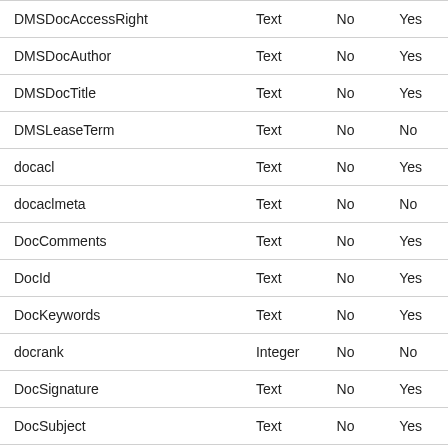| DMSDocAccessRight | Text | No | Yes |
| DMSDocAuthor | Text | No | Yes |
| DMSDocTitle | Text | No | Yes |
| DMSLeaseTerm | Text | No | No |
| docacl | Text | No | Yes |
| docaclmeta | Text | No | No |
| DocComments | Text | No | Yes |
| DocId | Text | No | Yes |
| DocKeywords | Text | No | Yes |
| docrank | Integer | No | No |
| DocSignature | Text | No | Yes |
| DocSubject | Text | No | Yes |